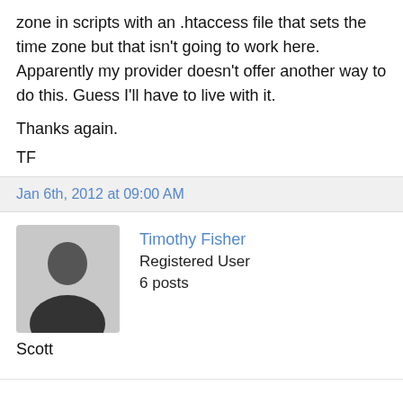zone in scripts with an .htaccess file that sets the time zone but that isn't going to work here. Apparently my provider doesn't offer another way to do this. Guess I'll have to live with it.
Thanks again.
TF
Jan 6th, 2012 at 09:00 AM
[Figure (photo): Default user avatar silhouette on grey background]
Timothy Fisher
Registered User
6 posts
Scott
bottom partial text line